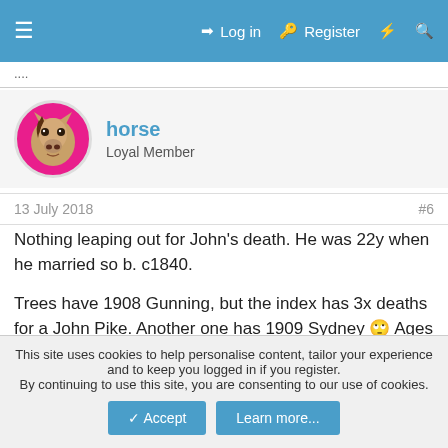≡  Log in  Register  ⚡  🔍
13 July 2018   #6
horse
Loyal Member
Nothing leaping out for John's death. He was 22y when he married so b. c1840.

Trees have 1908 Gunning, but the index has 3x deaths for a John Pike. Another one has 1909 Sydney 🙄 Ages not checked yet.

This is possibly John in 1903-4, occ fits.
This site uses cookies to help personalise content, tailor your experience and to keep you logged in if you register.
By continuing to use this site, you are consenting to our use of cookies.